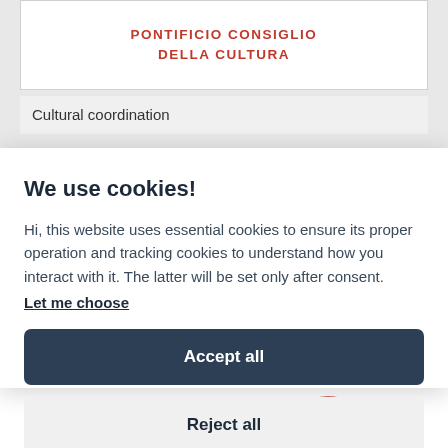PONTIFICIO CONSIGLIO DELLA CULTURA
Cultural coordination
We use cookies!
Hi, this website uses essential cookies to ensure its proper operation and tracking cookies to understand how you interact with it. The latter will be set only after consent.
Let me choose
Accept all
Reject all